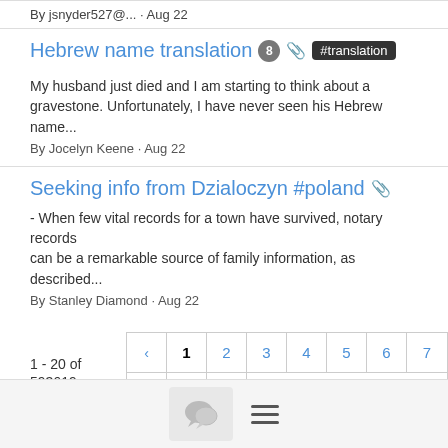By jsnyder527@... · Aug 22
Hebrew name translation 8 📎 #translation
My husband just died and I am starting to think about a gravestone. Unfortunately, I have never seen his Hebrew name...
By Jocelyn Keene · Aug 22
Seeking info from Dzialoczyn #poland 📎
- When few vital records for a town have survived, notary records can be a remarkable source of family information, as described...
By Stanley Diamond · Aug 22
1 - 20 of 593619
< 1 2 3 4 5 6 7 8 9 >